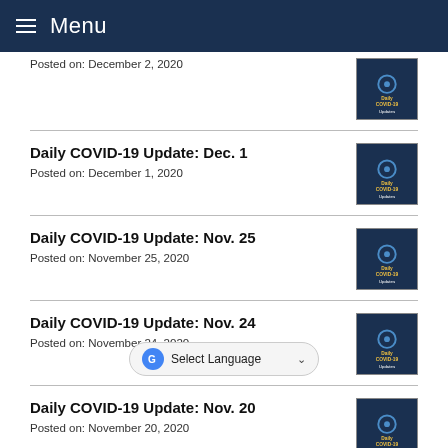Menu
Posted on: December 2, 2020
Daily COVID-19 Update: Dec. 1
Posted on: December 1, 2020
Daily COVID-19 Update: Nov. 25
Posted on: November 25, 2020
Daily COVID-19 Update: Nov. 24
Posted on: November 24, 2020
Daily COVID-19 Update: Nov. 20
Posted on: November 20, 2020